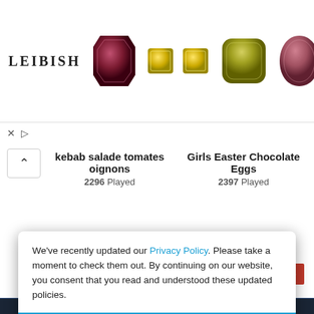[Figure (screenshot): Leibish jewelry advertisement banner showing colored gemstones/diamonds including red, yellow, olive, pink pear, and pink oval stones, with Leibish brand name on the left]
[Figure (screenshot): Website page showing game listings: 'kebab salade tomates oignons 2296 Played' and 'Girls Easter Chocolate Eggs 2397 Played' with pagination controls '1-16 of 80 | 1 2 3 >>']
[Figure (logo): AtmePlay logo with tiger icon and orange ATMEPLAY text on dark navy background]
We've recently updated our Privacy Policy. Please take a moment to check them out. By continuing on our website, you consent that you read and understood these updated policies.
Got it!
Copyright © 2022 Apay Marketing Pvt. Ltd.